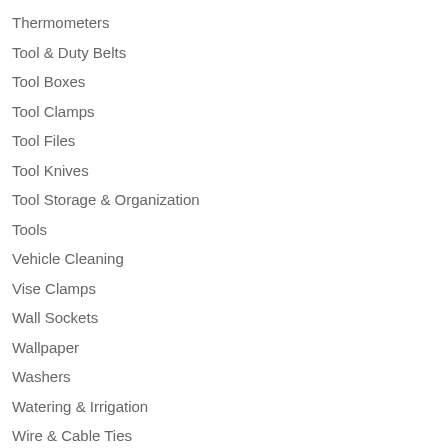Thermometers
Tool & Duty Belts
Tool Boxes
Tool Clamps
Tool Files
Tool Knives
Tool Storage & Organization
Tools
Vehicle Cleaning
Vise Clamps
Wall Sockets
Wallpaper
Washers
Watering & Irrigation
Wire & Cable Ties